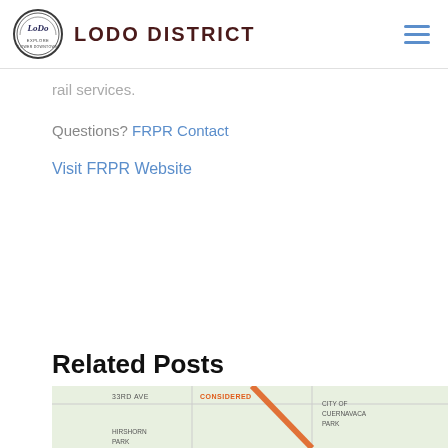LODO DISTRICT
rail services.
Questions? FRPR Contact
Visit FRPR Website
Related Posts
[Figure (map): Partial map showing street grid with labels including '33RD AVE', 'CONSIDERED', 'CITY OF CUERNAVACA PARK', 'HIRSHORN PARK']